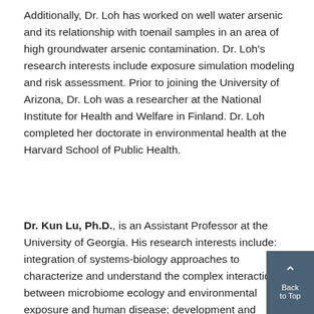Additionally, Dr. Loh has worked on well water arsenic and its relationship with toenail samples in an area of high groundwater arsenic contamination. Dr. Loh's research interests include exposure simulation modeling and risk assessment. Prior to joining the University of Arizona, Dr. Loh was a researcher at the National Institute for Health and Welfare in Finland. Dr. Loh completed her doctorate in environmental health at the Harvard School of Public Health.
Dr. Kun Lu, Ph.D., is an Assistant Professor at the University of Georgia. His research interests include: integration of systems-biology approaches to characterize and understand the complex interactions between microbiome ecology and environmental exposure and human disease; development and application of integrated Omi...